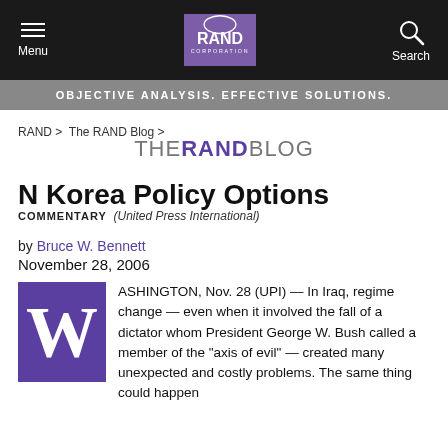Menu | RAND CORPORATION | Search
OBJECTIVE ANALYSIS. EFFECTIVE SOLUTIONS.
RAND > The RAND Blog >
THE RAND BLOG
N Korea Policy Options
COMMENTARY (United Press International)
by Bruce W. Bennett
November 28, 2006
ASHINGTON, Nov. 28 (UPI) — In Iraq, regime change — even when it involved the fall of a dictator whom President George W. Bush called a member of the "axis of evil" — created many unexpected and costly problems. The same thing could happen